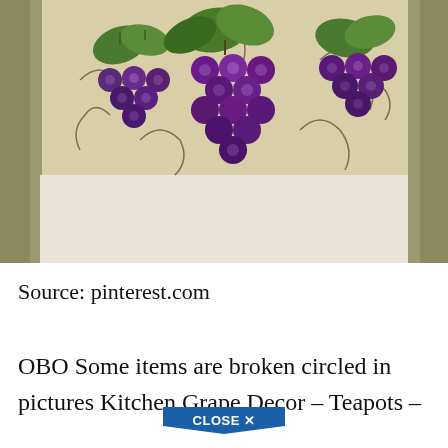[Figure (photo): A decorative wall mural or tile artwork depicting clusters of purple grapes with green leaves and curling vines on a cream/beige textured background, framed by olive-green painted woodwork on the sides]
Source: pinterest.com
OBO Some items are broken circled in pictures Kitchen Grape Decor - Teapots -